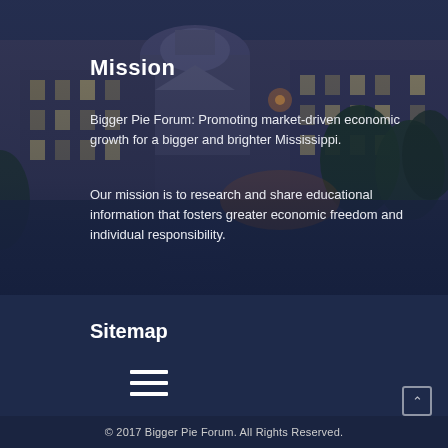[Figure (photo): Aerial/elevated view of a government capitol building with Greek Revival architecture, illuminated at dusk with warm orange lights, surrounded by green trees]
Mission
Bigger Pie Forum: Promoting market-driven economic growth for a bigger and brighter Mississippi.
Our mission is to research and share educational information that fosters greater economic freedom and individual responsibility.
Sitemap
[Figure (other): Hamburger menu icon (three horizontal white lines)]
© 2017 Bigger Pie Forum. All Rights Reserved.